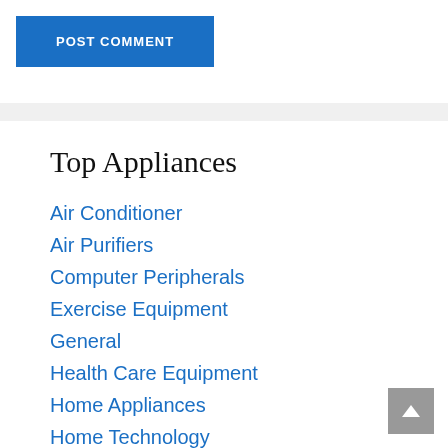POST COMMENT
Top Appliances
Air Conditioner
Air Purifiers
Computer Peripherals
Exercise Equipment
General
Health Care Equipment
Home Appliances
Home Technology